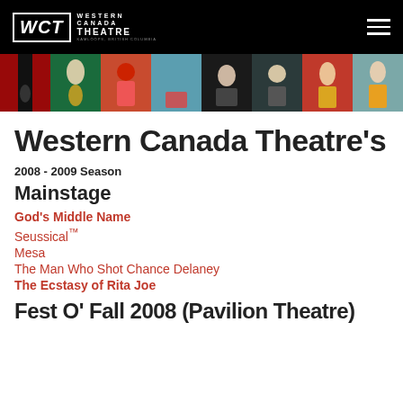Western Canada Theatre
[Figure (illustration): A horizontal strip of 8 illustrated theater production poster images in various colors]
Western Canada Theatre's
2008 - 2009 Season
Mainstage
God's Middle Name
Seussical™
Mesa
The Man Who Shot Chance Delaney
The Ecstasy of Rita Joe
Fest O' Fall 2008 (Pavilion Theatre)